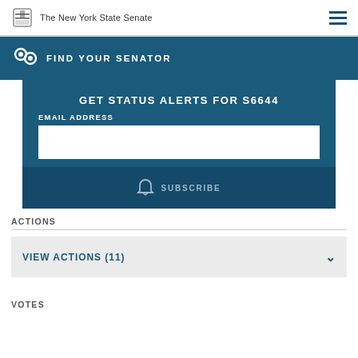The New York State Senate
FIND YOUR SENATOR
GET STATUS ALERTS FOR S6644
EMAIL ADDRESS
SUBSCRIBE
ACTIONS
VIEW ACTIONS (11)
VOTES